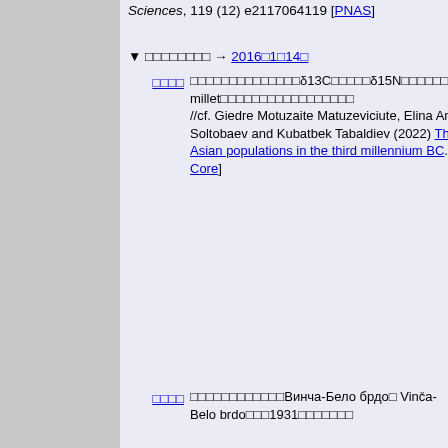Sciences, 119 (12) e2117064119 [PNAS]
▼ □□□□□□□□ → 2016□1□14□
□□□□ □□□□□□□□□□□□□□□δ13C□□□□□δ15N□□□□□□□□□□□□□□□3□□□□□C4□□□□□□□□□broomcorn millet□□□□□□□□□□□□□□□□□ //cf. Giedre Motuzaite Matuzeviciute, Elina Ananyevskaya, Jorune Sakalauskaite, Orozbek Soltobaev and Kubatbek Tabaldiev (2022) The integration of millet into the diet of Central Asian populations in the third millennium BC. Antiquity, First View, pp. 1 - 15 [Cambridge Core]
□□□□ □□□□□□□□□□□□Винча-Бело брдо□ Vinča-Belo brdo□□□1931□□□□□□□